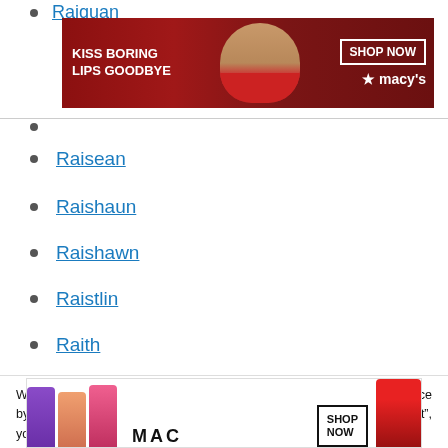Raiquan
[Figure (other): Macy's advertisement banner: 'KISS BORING LIPS GOODBYE' with a woman with red lipstick, SHOP NOW button, and Macy's logo]
Raisean
Raishaun
Raishawn
Raistlin
Raith
Raiyan
We use cookies on our website to give you the most relevant experience by remembering your preferences and repeat visits. By clicking “Accept”, you consent to the use of ALL the cookies.
Do not sell my personal information.
[Figure (other): MAC cosmetics advertisement with colorful lipsticks and SHOP NOW button]